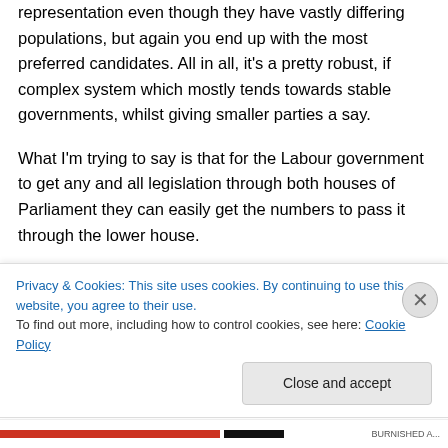representation even though they have vastly differing populations, but again you end up with the most preferred candidates. All in all, it's a pretty robust, if complex system which mostly tends towards stable governments, whilst giving smaller parties a say.
What I'm trying to say is that for the Labour government to get any and all legislation through both houses of Parliament they can easily get the numbers to pass it through the lower house.
However, in the upper house they have to
Privacy & Cookies: This site uses cookies. By continuing to use this website, you agree to their use.
To find out more, including how to control cookies, see here: Cookie Policy
Close and accept